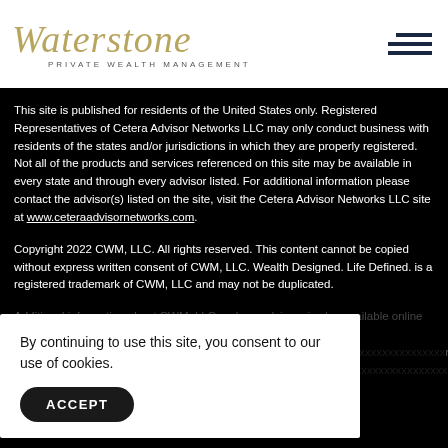[Figure (logo): Waterstone Private Wealth Management logo in gold italic script with subtitle]
This site is published for residents of the United States only. Registered Representatives of Cetera Advisor Networks LLC may only conduct business with residents of the states and/or jurisdictions in which they are properly registered. Not all of the products and services referenced on this site may be available in every state and through every advisor listed. For additional information please contact the advisor(s) listed on the site, visit the Cetera Advisor Networks LLC site at www.ceteraadvisornetworks.com.
Copyright 2022 CWM, LLC. All rights reserved. This content cannot be copied without express written consent of CWM, LLC. Wealth Designed. Life Defined. is a registered trademark of CWM, LLC and may not be duplicated.
Additional information about CWM, LLC and our advisors is also available online at y... r firm... ber 15...
By continuing to use this site, you consent to our use of cookies.